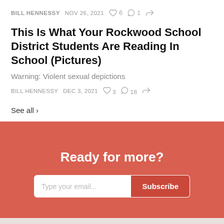BILL HENNESSY   NOV 26, 2021   ♡6   ○1   ↗
This Is What Your Rockwood School District Students Are Reading In School (Pictures)
Warning: Violent sexual depictions
BILL HENNESSY   DEC 3, 2021   ♡3   ○18   ↗
See all ›
Ready for more?
Type your email... Subscribe